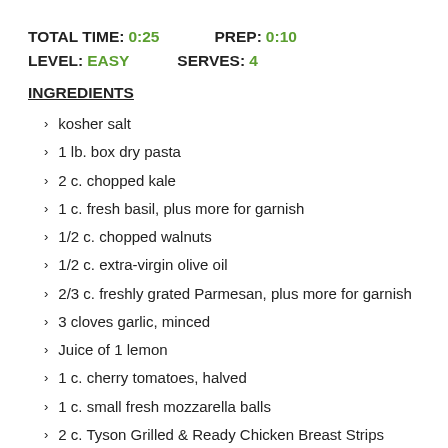TOTAL TIME: 0:25    PREP: 0:10
LEVEL: EASY    SERVES: 4
INGREDIENTS
kosher salt
1 lb. box dry pasta
2 c. chopped kale
1 c. fresh basil, plus more for garnish
1/2 c. chopped walnuts
1/2 c. extra-virgin olive oil
2/3 c. freshly grated Parmesan, plus more for garnish
3 cloves garlic, minced
Juice of 1 lemon
1 c. cherry tomatoes, halved
1 c. small fresh mozzarella balls
2 c. Tyson Grilled & Ready Chicken Breast Strips